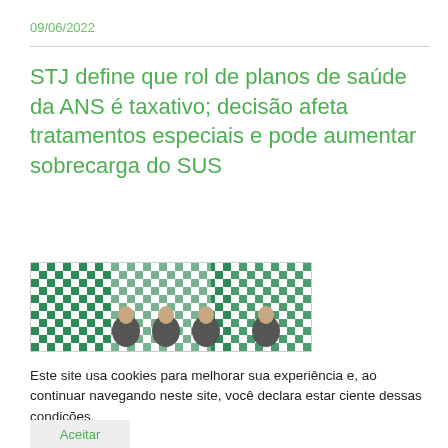09/06/2022
STJ define que rol de planos de saúde da ANS é taxativo; decisão afeta tratamentos especiais e pode aumentar sobrecarga do SUS
[Figure (photo): Group of people standing in front of a green and white checkered backdrop with logos]
Este site usa cookies para melhorar sua experiência e, ao continuar navegando neste site, você declara estar ciente dessas condições.
Aceitar